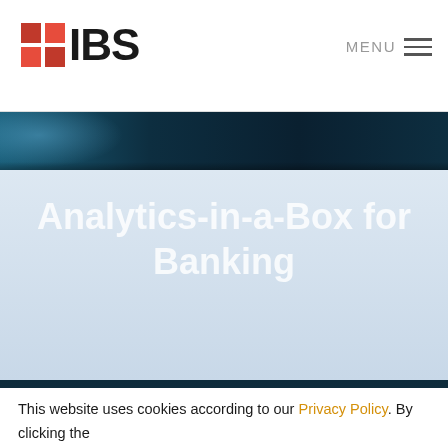IBS — MENU
[Figure (screenshot): Dark teal photographic banner strip at the top of the hero area]
Analytics-in-a-Box for Banking
[Figure (screenshot): Dark navy background section with 'Redefine your data' heading]
This website uses cookies according to our Privacy Policy. By clicking the "Accept " button, you acknowledge that you have read and agree to it. You can